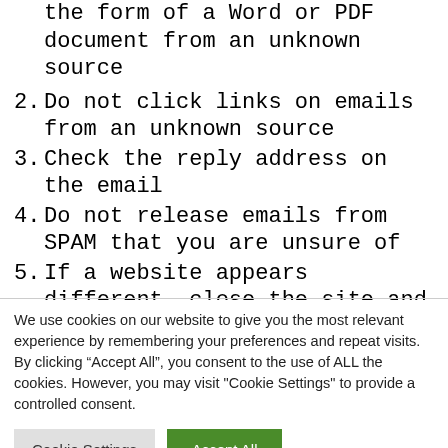the form of a Word or PDF document from an unknown source
2. Do not click links on emails from an unknown source
3. Check the reply address on the email
4. Do not release emails from SPAM that you are unsure of
5. If a website appears different, close the site and report it to your support provider
We use cookies on our website to give you the most relevant experience by remembering your preferences and repeat visits. By clicking "Accept All", you consent to the use of ALL the cookies. However, you may visit "Cookie Settings" to provide a controlled consent.